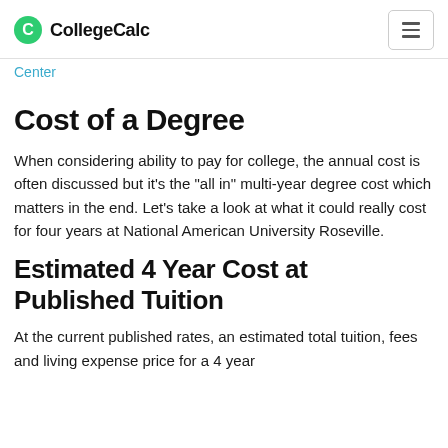CollegeCalc
Center
Cost of a Degree
When considering ability to pay for college, the annual cost is often discussed but it's the "all in" multi-year degree cost which matters in the end. Let's take a look at what it could really cost for four years at National American University Roseville.
Estimated 4 Year Cost at Published Tuition
At the current published rates, an estimated total tuition, fees and living expense price for a 4 year